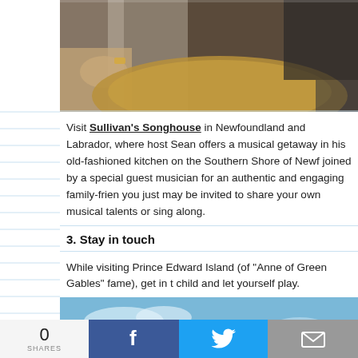[Figure (photo): Partial view of people gathered indoors, a furry object visible in foreground]
Visit Sullivan's Songhouse in Newfoundland and Labrador, where host Sean offers a musical getaway in his old-fashioned kitchen on the Southern Shore of Newfoundland, joined by a special guest musician for an authentic and engaging family-friendly experience — you just may be invited to share your own musical talents or sing along.
3. Stay in touch
While visiting Prince Edward Island (of "Anne of Green Gables" fame), get in touch with your inner child and let yourself play.
[Figure (photo): Children playing on a beach on a sunny day, one child in red shirt, another in blue swimsuit riding a wooden horse sculpture, third child in pink in background]
0 SHARES
[Figure (infographic): Social share bar with Facebook, Twitter, and email buttons]